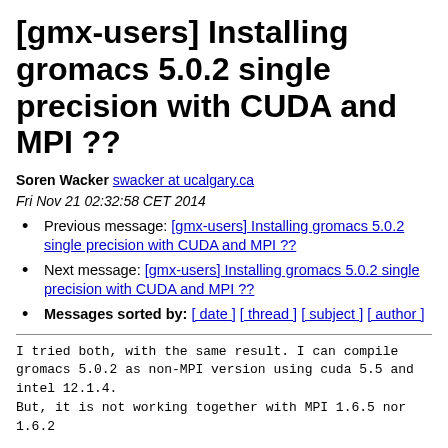[gmx-users] Installing gromacs 5.0.2 single precision with CUDA and MPI ??
Soren Wacker swacker at ucalgary.ca
Fri Nov 21 02:32:58 CET 2014
Previous message: [gmx-users] Installing gromacs 5.0.2 single precision with CUDA and MPI ??
Next message: [gmx-users] Installing gromacs 5.0.2 single precision with CUDA and MPI ??
Messages sorted by: [ date ] [ thread ] [ subject ] [ author ]
I tried both, with the same result. I can compile
gromacs 5.0.2 as non-MPI version using cuda 5.5 and
intel 12.1.4.
But, it is not working together with MPI 1.6.5 nor
1.6.2

Is there anything else to consider when compiling with
cuda and mpi?